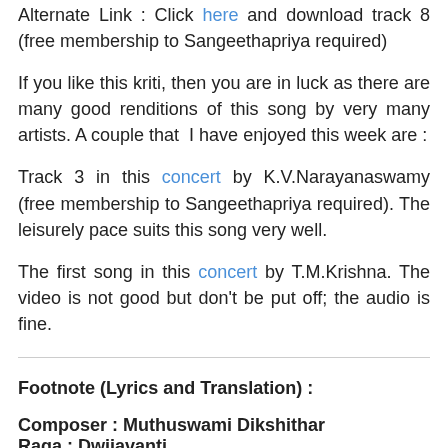Alternate Link : Click here and download track 8 (free membership to Sangeethapriya required)
If you like this kriti, then you are in luck as there are many good renditions of this song by very many artists. A couple that I have enjoyed this week are :
Track 3 in this concert by K.V.Narayanaswamy (free membership to Sangeethapriya required). The leisurely pace suits this song very well.
The first song in this concert by T.M.Krishna. The video is not good but don't be put off; the audio is fine.
Footnote (Lyrics and Translation) :
Composer : Muthuswami Dikshithar
Raga : Dwiiavanti